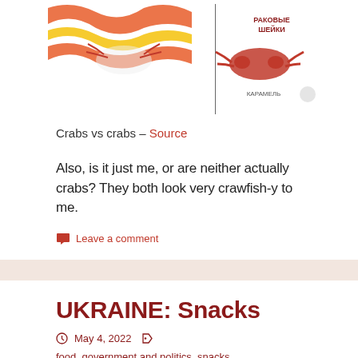[Figure (photo): Two crab-themed product images side by side - one showing colorful illustrated crabs with red/yellow/orange design, the other showing Russian candy packaging with crabs labeled РАКОВЫЕ ШЕЙКИ and КАРАМЕЛЬ]
Crabs vs crabs – Source
Also, is it just me, or are neither actually crabs? They both look very crawfish-y to me.
Leave a comment
UKRAINE: Snacks
May 4, 2022    food, government and politics, snacks